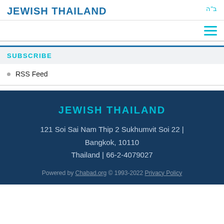JEWISH THAILAND
ב"ה
SUBSCRIBE
RSS Feed
JEWISH THAILAND
121 Soi Sai Nam Thip 2 Sukhumvit Soi 22 | Bangkok, 10110
Thailand | 66-2-4079027
Powered by Chabad.org © 1993-2022 Privacy Policy